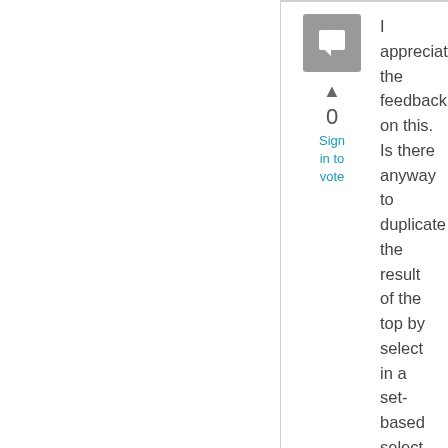[Figure (other): Comment/answer icon — grey square with white speech bubble]
0
Sign in to vote
I appreciate the feedback on this. Is there anyway to duplicate the result of the top by select in a set-based select when the order by defaults to nothing? In other words, I have code which uses the top by like I've shown and the top by defaults to
select top 1 orderby
from #temp